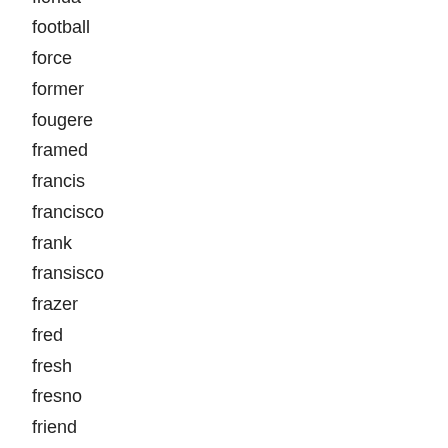florida
football
force
former
fougere
framed
francis
francisco
frank
fransisco
frazer
fred
fresh
fresno
friend
galaxy
game
game-wornissued
gameland
gamer